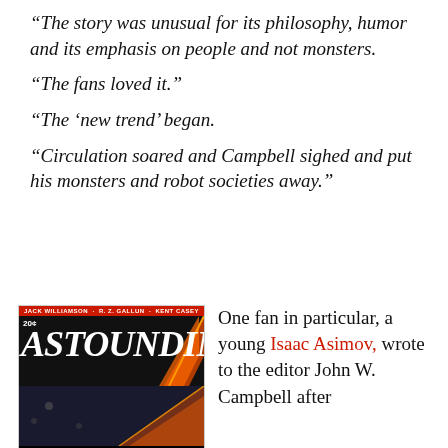“The story was unusual for its philosophy, humor and its emphasis on people and not monsters.
“The fans loved it.”
“The ‘new trend’ began.
“Circulation soared and Campbell sighed and put his monsters and robot societies away.”
[Figure (illustration): Cover of Astounding Science-Fiction magazine, July 1938, showing a rocket against a dark background. Red bar at top reads JACK WILLIAMSON · R. Z. GALLUN · KENT CASEY. Price 20 cents.]
One fan in particular, a young Isaac Asimov, wrote to the editor John W. Campbell after